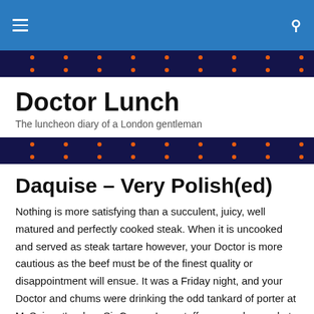Doctor Lunch — navigation bar
[Figure (illustration): Decorative floral band with dark navy background, orange and purple flower motifs]
Doctor Lunch
The luncheon diary of a London gentleman
[Figure (illustration): Decorative floral band with dark navy background, orange and purple flower motifs]
Daquise – Very Polish(ed)
Nothing is more satisfying than a succulent, juicy, well matured and perfectly cooked steak. When it is uncooked and served as steak tartare however, your Doctor is more cautious as the beef must be of the finest quality or disappointment will ensue. It was a Friday night, and your Doctor and chums were drinking the odd tankard of porter at McSpigget's when Sir Cosmo Longstaff proposed a meal at Daquise. This is a Polish Restaurant that has been